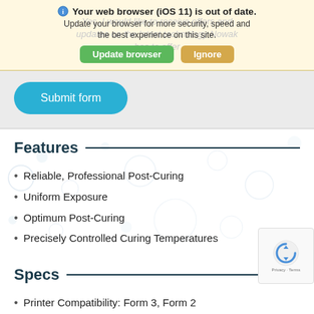Your web browser (iOS 11) is out of date. Update your browser for more security, speed and the best experience on this site.
Update browser | Ignore
Yes, I would like to receive offers and updates on the latest technology Nowak has to offer
Submit form
Features
Reliable, Professional Post-Curing
Uniform Exposure
Optimum Post-Curing
Precisely Controlled Curing Temperatures
Specs
Printer Compatibility: Form 3, Form 2